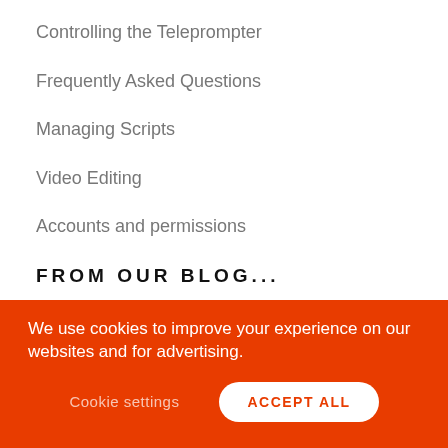Controlling the Teleprompter
Frequently Asked Questions
Managing Scripts
Video Editing
Accounts and permissions
FROM OUR BLOG...
Why self-reflection and celebrating your successes helps you learn
Learning styles and video production: Is a picture worth a 1,000 words?
We use cookies to improve your experience on our websites and for advertising.
Cookie settings
ACCEPT ALL